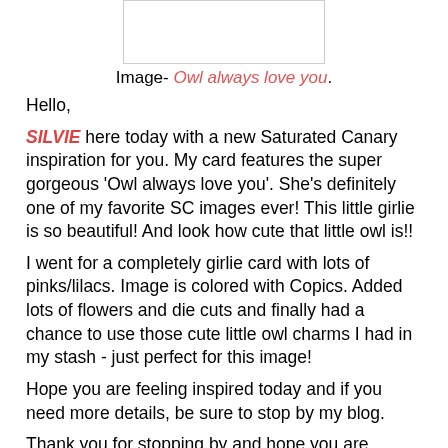[Figure (other): Blank white image placeholder with light gray border]
Image- Owl always love you.
Hello,
SILVIE here today with a new Saturated Canary inspiration for you. My card features the super gorgeous 'Owl always love you'. She's definitely one of my favorite SC images ever! This little girlie is so beautiful! And look how cute that little owl is!!
I went for a completely girlie card with lots of pinks/lilacs. Image is colored with Copics. Added lots of flowers and die cuts and finally had a chance to use those cute little owl charms I had in my stash - just perfect for this image!
Hope you are feeling inspired today and if you need more details, be sure to stop by my blog.
Thank you for stopping by and hope you are inspired today and...